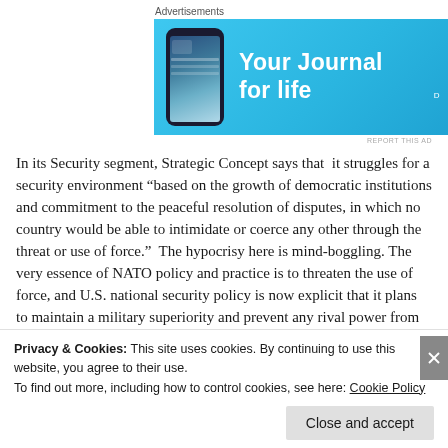Advertisements
[Figure (illustration): Advertisement banner for DayOne journal app with blue background, phone image, text 'Your Journal for life' and DayOne logo]
In its Security segment, Strategic Concept says that it struggles for a security environment “based on the growth of democratic institutions and commitment to the peaceful resolution of disputes, in which no country would be able to intimidate or coerce any other through the threat or use of force.” The hypocrisy here is mind-boggling. The very essence of NATO policy and practice is to threaten the use of force, and U.S. national security policy is now explicit that it plans to maintain a military superiority and prevent any rival power from challenging that superiority in order to hold sway globally—that is, it plans to rule by intimidation.
Privacy & Cookies: This site uses cookies. By continuing to use this website, you agree to their use.
To find out more, including how to control cookies, see here: Cookie Policy